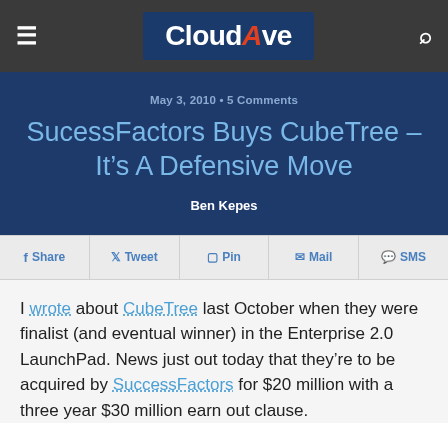CloudAve
May 3, 2010 · 5 Comments
SucessFactors Buys CubeTree – It's A Defensive Move
Ben Kepes
Share  Tweet  Pin  Mail  SMS
I wrote about CubeTree last October when they were finalist (and eventual winner) in the Enterprise 2.0 LaunchPad. News just out today that they're to be acquired by SuccessFactors for $20 million with a three year $30 million earn out clause.